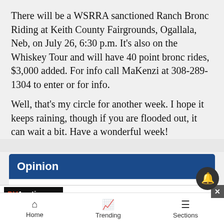There will be a WSRRA sanctioned Ranch Bronc Riding at Keith County Fairgrounds, Ogallala, Neb, on July 26, 6:30 p.m. It's also on the Whiskey Tour and will have 40 point bronc rides, $3,000 added. For info call MaKenzi at 308-289-1304 to enter or for info.
Well, that's my circle for another week. I hope it keeps raining, though if you are flooded out, it can wait a bit. Have a wonderful week!
Opinion
[Figure (screenshot): DVAuction advertisement banner: DISCOVER THE MOTHERLODE - GET MORE DETAILS, Jorgensen Land & Cattle]
Home   Trending   Sections